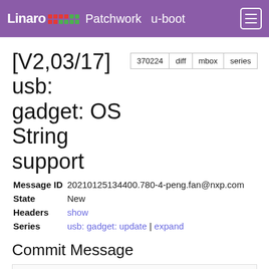Linaro Patchwork u-boot
[V2,03/17] usb: gadget: OS String support
| Field | Value |
| --- | --- |
| Message ID | 20210125134400.780-4-peng.fan@nxp.com |
| State | New |
| Headers | show |
| Series | usb: gadget: update | expand |
Commit Message
Peng Fan   Jan. 25, 2021, 1:43 p.m. UTC
From: Li Jun <jun.li@nxp.com>